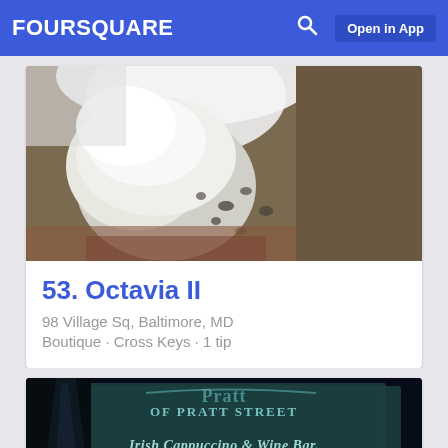FOURSQUARE  Open in App
[Figure (photo): Close-up photo of a white ceramic or porcelain decorative animal figurine (appears to be a dog or horse) against a wall, with spots/markings visible]
53. Octavia II
98 Village Sq, Baltimore, MD
Boutique · Cross Keys · 1 tip
[Figure (photo): Dark nighttime photo of a sign reading 'OF PRATT STREET' and 'Irish Cappuccino & Wine Bar.' with decorative lettering]